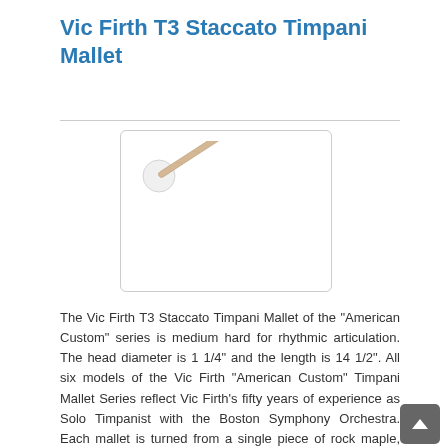Vic Firth T3 Staccato Timpani Mallet
[Figure (photo): A Vic Firth T3 Staccato Timpani Mallet shown diagonally, with a round white felt head on the upper left and a wooden maple handle extending to the lower right.]
The Vic Firth T3 Staccato Timpani Mallet of the "American Custom" series is medium hard for rhythmic articulation. The head diameter is 1 1/4" and the length is 14 1/2". All six models of the Vic Firth "American Custom" Timpani Mallet Series reflect Vic Firth's fifty years of experience as Solo Timpanist with the Boston Symphony Orchestra. Each mallet is turned from a single piece of rock maple, which eliminates a core that could rattle and the need for a